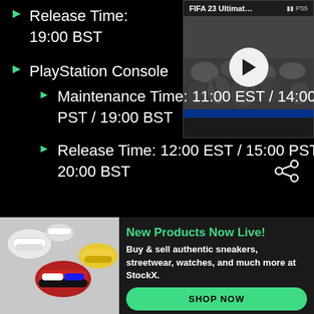Release Time: 19:00 BST
PlayStation Console
Maintenance Time: 11:00 EST / 14:00 PST / 19:00 BST
Release Time: 12:00 EST / 15:00 PST / 20:00 BST
[Figure (screenshot): Video thumbnail for FIFA 23 Ultimate with play button overlay and PlayStation logo]
[Figure (photo): Sneakers product photo showing multiple Nike/Jordan shoes]
New Products Now Live! Buy & sell authentic sneakers, streetwear, watches, and much more at StockX.
SHOP NOW